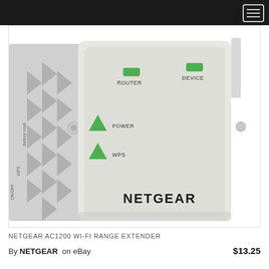[Figure (photo): NETGEAR AC1200 Wi-Fi Range Extender device photo showing the front panel with Router and Device indicator lights (green), Power and WPS buttons with green arrow indicators, and NETGEAR logo at the bottom. The device is white/gray with ventilation slots on the side.]
NETGEAR AC1200 WI-FI RANGE EXTENDER
By NETGEAR on eBay  $13.25